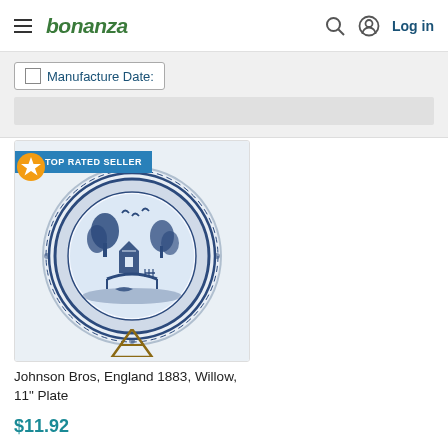bonanza — Log in
Manufacture Date:
[Figure (photo): Blue and white willow pattern ceramic plate by Johnson Bros displayed on a wooden plate stand against a light background. The plate features a classic blue willow scene with birds, trees, and buildings. A 'TOP RATED SELLER' badge with a star icon appears in the upper left corner of the listing image.]
Johnson Bros, England 1883, Willow, 11" Plate
$11.92